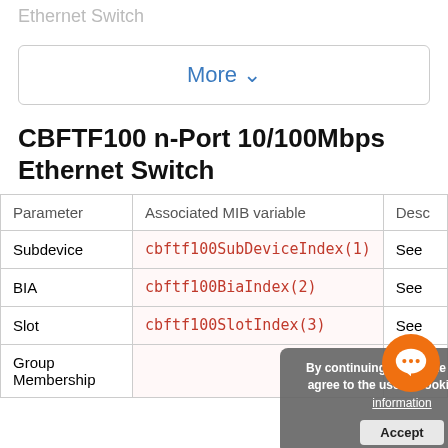Ethernet Switch
More ∨
CBFTF100 n-Port 10/100Mbps Ethernet Switch
| Parameter | Associated MIB variable | Desc |
| --- | --- | --- |
| Subdevice | cbftf100SubDeviceIndex(1) | See |
| BIA | cbftf100BiaIndex(2) | See |
| Slot | cbftf100SlotIndex(3) | See |
| Group Membership |  | ee |
By continuing to use the site, you agree to the use of cookies. more information
Accept